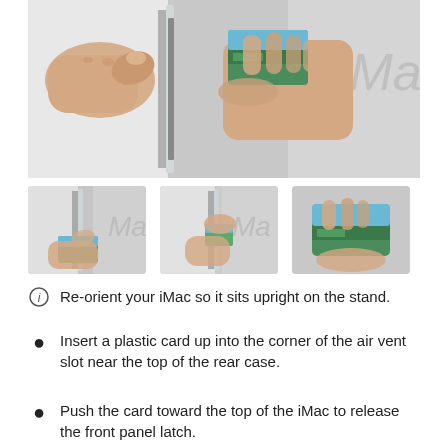[Figure (photo): Close-up photo of two hands inserting a credit/plastic card into the air vent slot on the side of a white iMac computer. The iMac logo is partially visible in the upper right.]
[Figure (photo): Three thumbnail photos showing step-by-step process: (1) hand holding a card approaching the iMac slot, (2) hand pushing the card into the slot, (3) close-up of the card being held.]
Re-orient your iMac so it sits upright on the stand.
Insert a plastic card up into the corner of the air vent slot near the top of the rear case.
Push the card toward the top of the iMac to release the front panel latch.